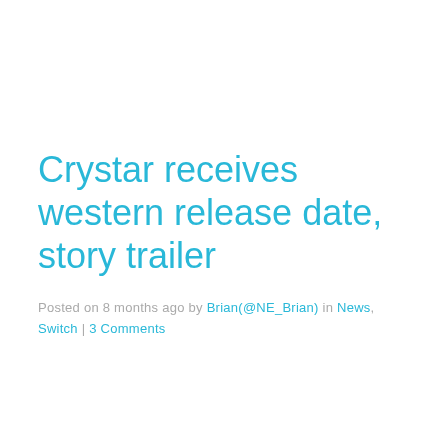Crystar receives western release date, story trailer
Posted on 8 months ago by Brian(@NE_Brian) in News, Switch | 3 Comments